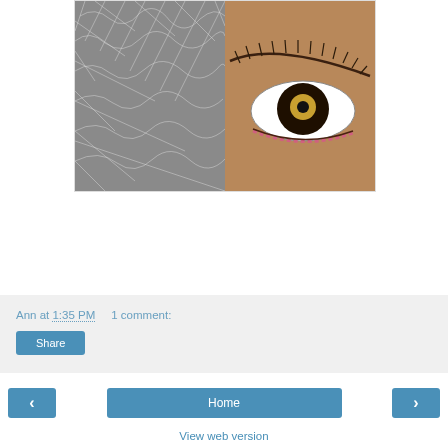[Figure (photo): Artwork showing two panels side by side: left panel shows wire mesh/net texture in gray tones, right panel shows a large embroidered or textile eye with white sclera, dark brown iris, gold pupil, pink stitched lower lash line, on a tan/brown fabric background.]
Ann at 1:35 PM    1 comment:
Share
‹
Home
›
View web version